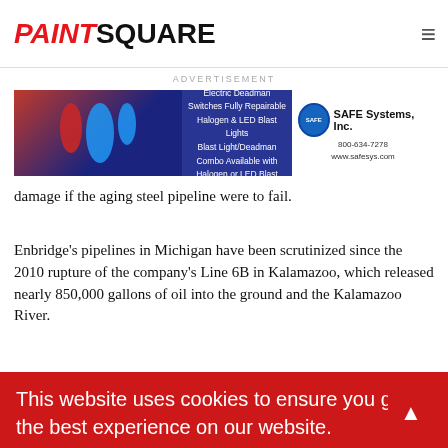PAINTSQUARE
ADVERTISEMENT
[Figure (photo): Advertisement banner for SAFE Systems, Inc. showing Endurogard Cable products including electric deadman switches, blast lights, with phone number 800-634-7278 and website www.safesys.com]
damage if the aging steel pipeline were to fail.
Enbridge's pipelines in Michigan have been scrutinized since the 2010 rupture of the company's Line 6B in Kalamazoo, which released nearly 850,000 gallons of oil into the ground and the Kalamazoo River.
[Figure (photo): Cookie consent banner in red: 'This website uses cookies to ensure you get the best experience on our website.' with 'Learn more' link and 'Got it!' button. Background shows a bridge (Mackinac Bridge) over water.]
This website uses cookies to ensure you get the best experience on our website.
Learn more
Got it!